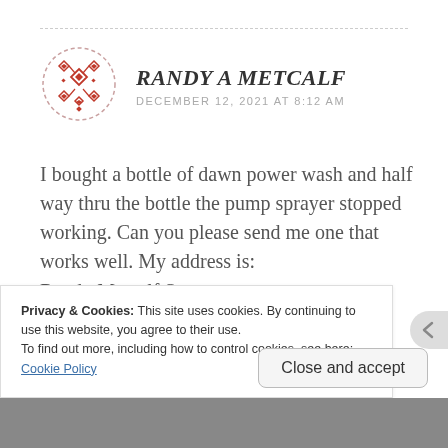[Figure (illustration): Circular avatar icon with red/orange geometric diamond pattern on white background with dashed border circle]
RANDY A METCALF
DECEMBER 12, 2021 AT 8:12 AM
I bought a bottle of dawn power wash and half way thru the bottle the pump sprayer stopped working. Can you please send me one that works well. My address is:
Randy Metcalf Sr.
Privacy & Cookies: This site uses cookies. By continuing to use this website, you agree to their use.
To find out more, including how to control cookies, see here:
Cookie Policy
Close and accept